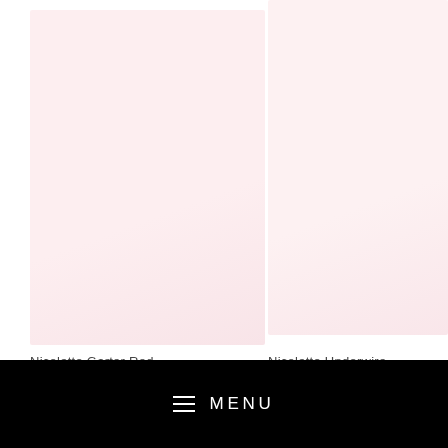[Figure (photo): Product image placeholder for Nicolette Garter Red — light pink/blush background rectangle]
[Figure (photo): Product image placeholder for Nicolette Underwire — light pink/blush background rectangle, partially cropped on right]
Nicolette Garter Red
Nicolette Underwire
evi
MENU